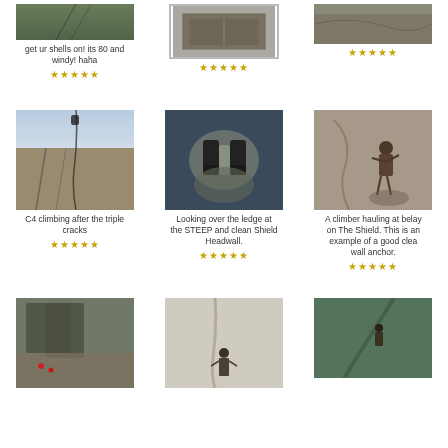[Figure (photo): Partial climbing photo at top, cut off]
get ur shells on! its 80 and windy! haha
[Figure (photo): Partial climbing/rock photo at top center, cut off]
[Figure (photo): Partial climbing photo at top right, cut off]
[Figure (photo): C4 climbing after the triple cracks]
C4 climbing after the triple cracks
[Figure (photo): Looking over the ledge at the STEEP and clean Shield Headwall.]
Looking over the ledge at the STEEP and clean Shield Headwall.
[Figure (photo): A climber hauling at belay on The Shield. This is an example of a good clean wall anchor.]
A climber hauling at belay on The Shield. This is an example of a good clean wall anchor.
[Figure (photo): Rock climbing photo at bottom left, partially cut off]
[Figure (photo): Rock climbing photo at bottom center, partially cut off]
[Figure (photo): Rock climbing photo at bottom right, partially cut off]